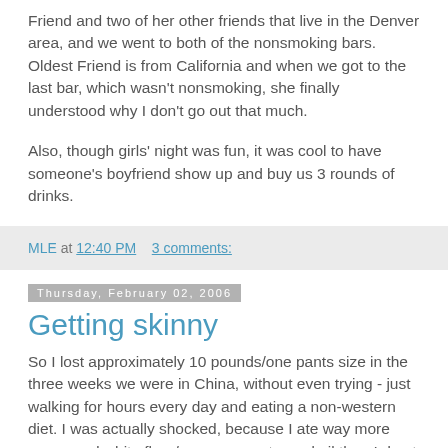Friend and two of her other friends that live in the Denver area, and we went to both of the nonsmoking bars. Oldest Friend is from California and when we got to the last bar, which wasn't nonsmoking, she finally understood why I don't go out that much.
Also, though girls' night was fun, it was cool to have someone's boyfriend show up and buy us 3 rounds of drinks.
MLE at 12:40 PM    3 comments:
Thursday, February 02, 2006
Getting skinny
So I lost approximately 10 pounds/one pants size in the three weeks we were in China, without even trying - just walking for hours every day and eating a non-western diet. I was actually shocked, because I ate way more processed white flour/sugar, peanuts, and oil than I do at home, and hardly any whole grains or fresh veggies - I just ate smaller